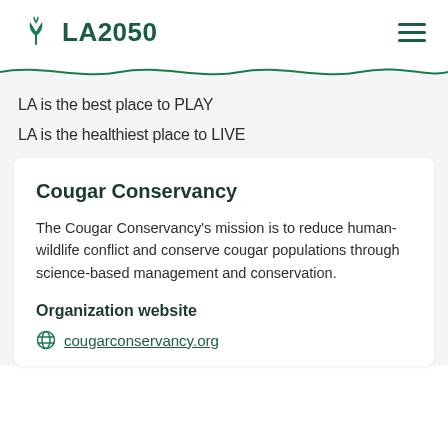LA2050
LA is the best place to PLAY
LA is the healthiest place to LIVE
Cougar Conservancy
The Cougar Conservancy's mission is to reduce human-wildlife conflict and conserve cougar populations through science-based management and conservation.
Organization website
cougarconservancy.org